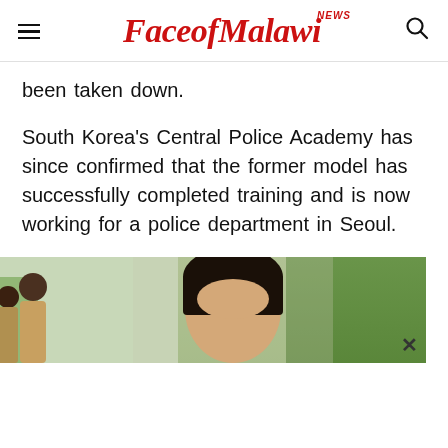FaceofMalawi NEWS
been taken down.
South Korea's Central Police Academy has since confirmed that the former model has successfully completed training and is now working for a police department in Seoul.
[Figure (photo): A woman with dark hair photographed outdoors with trees in background; other people visible in the left portion of the image. A close button (×) appears at the bottom right of the image.]